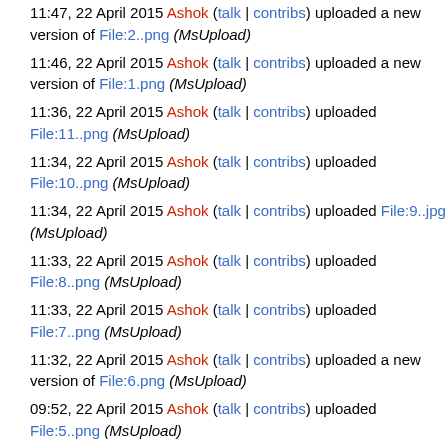11:47, 22 April 2015 Ashok (talk | contribs) uploaded a new version of File:2..png (MsUpload)
11:46, 22 April 2015 Ashok (talk | contribs) uploaded a new version of File:1.png (MsUpload)
11:36, 22 April 2015 Ashok (talk | contribs) uploaded File:11..png (MsUpload)
11:34, 22 April 2015 Ashok (talk | contribs) uploaded File:10..png (MsUpload)
11:34, 22 April 2015 Ashok (talk | contribs) uploaded File:9..jpg (MsUpload)
11:33, 22 April 2015 Ashok (talk | contribs) uploaded File:8..png (MsUpload)
11:33, 22 April 2015 Ashok (talk | contribs) uploaded File:7..png (MsUpload)
11:32, 22 April 2015 Ashok (talk | contribs) uploaded a new version of File:6.png (MsUpload)
09:52, 22 April 2015 Ashok (talk | contribs) uploaded File:5..png (MsUpload)
(newest | oldest) View (newer 250 | older 250) (20 | 50 | 100 | 250 | 500)